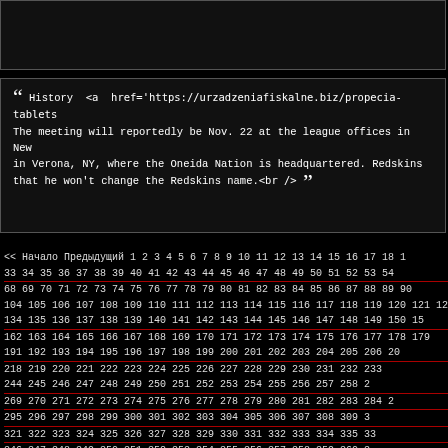[Figure (other): Dark box at top, partially visible content area]
“” History  <a  href='https://urzadzeniafiskalne.biz/propecia-tablets The meeting will reportedly be Nov. 22 at the league offices in New in Verona, NY, where the Oneida Nation is headquartered. Redskins that he won't change the Redskins name.<br />
<< Начало Предыдущий 1 2 3 4 5 6 7 8 9 10 11 12 13 14 15 16 17 18 ... 33 34 35 36 37 38 39 40 41 42 43 44 45 46 47 48 49 50 51 52 53 54... 68 69 70 71 72 73 74 75 76 77 78 79 80 81 82 83 84 85 86 87 88 89 90 104 105 106 107 108 109 110 111 112 113 114 115 116 117 118 119 120 121 122 134 135 136 137 138 139 140 141 142 143 144 145 146 147 148 149 150 1... 162 163 164 165 166 167 168 169 170 171 172 173 174 175 176 177 178 179 191 192 193 194 195 196 197 198 199 200 201 202 203 204 205 206 20... 218 219 220 221 222 223 224 225 226 227 228 229 230 231 232 233 244 245 246 247 248 249 250 251 252 253 254 255 256 257 258 2... 269 270 271 272 273 274 275 276 277 278 279 280 281 282 283 284 2... 295 296 297 298 299 300 301 302 303 304 305 306 307 308 309 3... 321 322 323 324 325 326 327 328 329 330 331 332 333 334 335 33... 346 347 348 349 350 351 352 353 354 355 356 357 358 359 360 3... 371 372 373 374 375 376 377 378 379 380 381 382 383 384 385 386 3... 397 398 399 400 401 402 403 404 405 406 407 408 409 410 411 412 4...